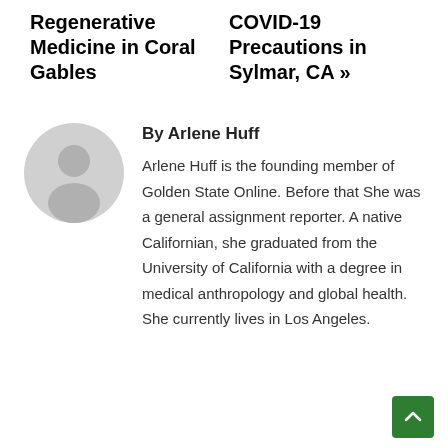Regenerative Medicine in Coral Gables
COVID-19 Precautions in Sylmar, CA »
[Figure (illustration): Gray circular avatar icon of a person silhouette]
By Arlene Huff
Arlene Huff is the founding member of Golden State Online. Before that She was a general assignment reporter. A native Californian, she graduated from the University of California with a degree in medical anthropology and global health. She currently lives in Los Angeles.